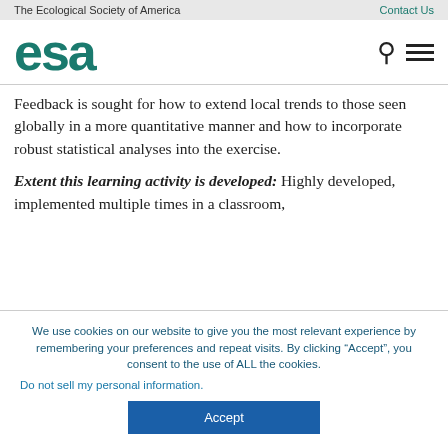The Ecological Society of America | Contact Us
[Figure (logo): ESA logo in teal/green color with search and menu icons]
Feedback is sought for how to extend local trends to those seen globally in a more quantitative manner and how to incorporate robust statistical analyses into the exercise.
Extent this learning activity is developed: Highly developed, implemented multiple times in a classroom,
We use cookies on our website to give you the most relevant experience by remembering your preferences and repeat visits. By clicking “Accept”, you consent to the use of ALL the cookies.
Do not sell my personal information.
Accept